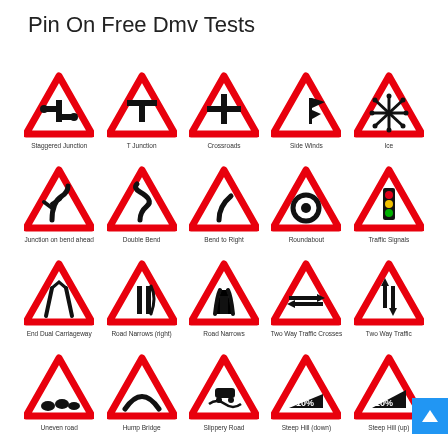Pin On Free Dmv Tests
[Figure (illustration): Grid of 20 UK road warning signs (red triangles) with labels: Staggered Junction, T Junction, Crossroads, Side Winds, Ice, Junction on bend ahead, Double Bend, Bend to Right, Roundabout, Traffic Signals, End Dual Carriageway, Road Narrows (right), Road Narrows, Two Way Traffic Crosses, Two Way Traffic, Uneven road, Hump Bridge, Slippery Road, Steep Hill (down), Steep Hill (up)]